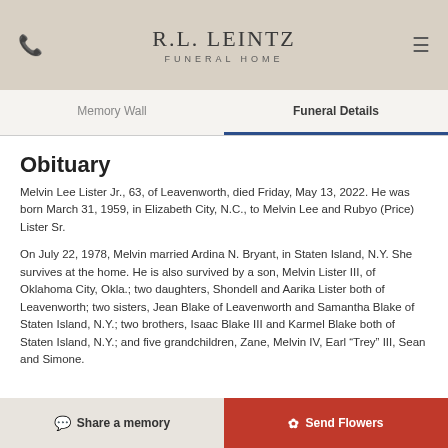R.L. LEINTZ FUNERAL HOME
Memory Wall
Funeral Details
Obituary
Melvin Lee Lister Jr., 63, of Leavenworth, died Friday, May 13, 2022. He was born March 31, 1959, in Elizabeth City, N.C., to Melvin Lee and Rubyo (Price) Lister Sr.
On July 22, 1978, Melvin married Ardina N. Bryant, in Staten Island, N.Y. She survives at the home. He is also survived by a son, Melvin Lister III, of Oklahoma City, Okla.; two daughters, Shondell and Aarika Lister both of Leavenworth; two sisters, Jean Blake of Leavenworth and Samantha Blake of Staten Island, N.Y.; two brothers, Isaac Blake III and Karmel Blake both of Staten Island, N.Y.; and five grandchildren, Zane, Melvin IV, Earl "Trey" III, Sean and Simone.
Share a memory   Send Flowers